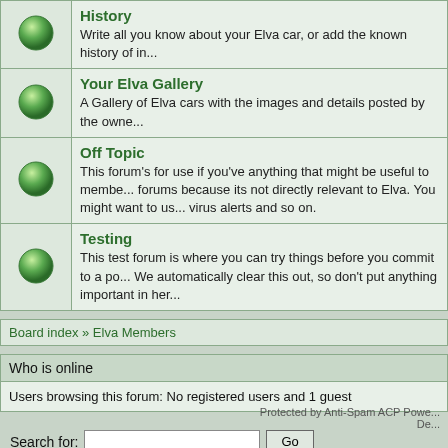| Icon | Forum |
| --- | --- |
| [green ball] | History
Write all you know about your Elva car, or add the known history of in... |
| [green ball] | Your Elva Gallery
A Gallery of Elva cars with the images and details posted by the owne... |
| [green ball] | Off Topic
This forum's for use if you've anything that might be useful to membe... forums because its not directly relevant to Elva. You might want to us... virus alerts and so on. |
| [green ball] | Testing
This test forum is where you can try things before you commit to a po... We automatically clear this out, so don't put anything important in her... |
Board index » Elva Members
Who is online
Users browsing this forum: No registered users and 1 guest
Search for:
Protected by Anti-Spam ACP Powe... De...